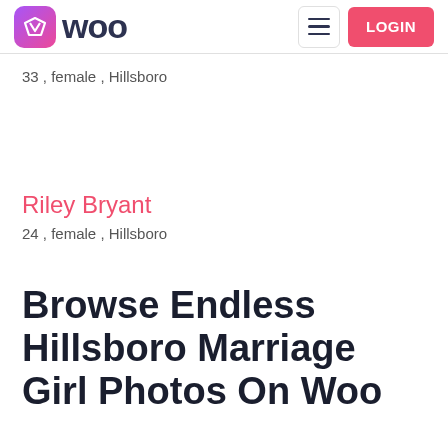[Figure (logo): Woo dating app logo with gradient icon and text]
33 , female , Hillsboro
Riley Bryant
24 , female , Hillsboro
Browse Endless Hillsboro Marriage Girl Photos On Woo